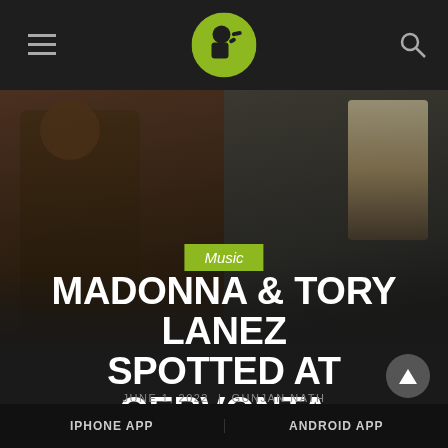Menu | Logo | Search
[Figure (photo): Two celebrities side by side: on the left, a man wearing sunglasses and heavy jewelry drinking from a cup; on the right, a woman with blonde hair in a dark jacket]
Music
MADONNA & TORY LANEZ SPOTTED AT GERVONTA DAVIS FIGHT
JUNE 1, 2022 | GUNJAN NATH
IPHONE APP | ANDROID APP